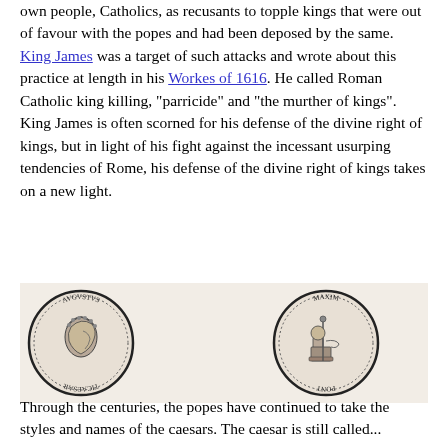own people, Catholics, as recusants to topple kings that were out of favour with the popes and had been deposed by the same. King James was a target of such attacks and wrote about this practice at length in his Workes of 1616. He called Roman Catholic king killing, "parricide" and "the murther of kings". King James is often scorned for his defense of the divine right of kings, but in light of his fight against the incessant usurping tendencies of Rome, his defense of the divine right of kings takes on a new light.
[Figure (illustration): Two Roman coins side by side on a light beige background. The left coin shows a profile portrait of a Roman emperor wearing a laurel wreath, with the inscription AVGVSTVS and TICAESAR around the edge. The right coin shows a seated figure with a staff, with the inscription MAXIM and PONT around the edge.]
Through the centuries, the popes have continued to take the styles and names of the caesars. The caesar is still called...